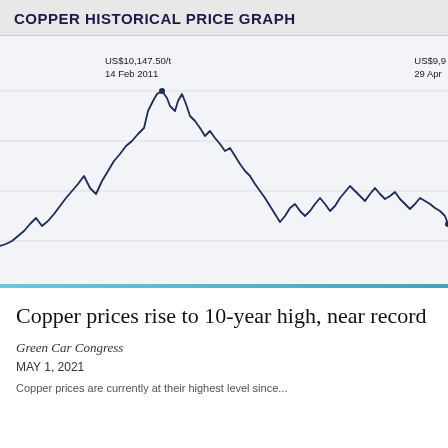COPPER HISTORICAL PRICE GRAPH
[Figure (continuous-plot): Copper historical price line chart showing price fluctuations from approximately 2008 to 2021. The chart shows a peak at US$10,147.50/t on 14 Feb 2011 and a recent level near US$9,900+ on 29 Apr. The line is dark navy blue on a light gray background.]
Copper prices rise to 10-year high, near record
Green Car Congress
MAY 1, 2021
Copper prices are currently at their highest level since...